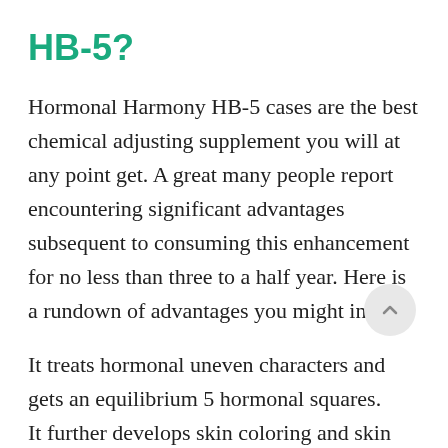HB-5?
Hormonal Harmony HB-5 cases are the best chemical adjusting supplement you will at any point get. A great many people report encountering significant advantages subsequent to consuming this enhancement for no less than three to a half year. Here is a rundown of advantages you might insight.
It treats hormonal uneven characters and gets an equilibrium 5 hormonal squares.
It further develops skin coloring and skin conditions brought about by hormonal harm.
It elevates your state of mind and energy levels